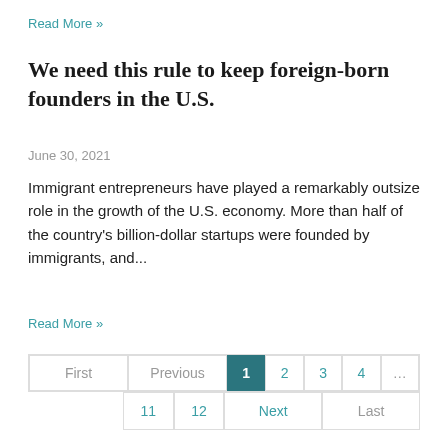Read More »
We need this rule to keep foreign-born founders in the U.S.
June 30, 2021
Immigrant entrepreneurs have played a remarkably outsize role in the growth of the U.S. economy. More than half of the country's billion-dollar startups were founded by immigrants, and...
Read More »
| First | Previous | 1 | 2 | 3 | 4 | ... |
|  | 11 | 12 | Next | Last |  |